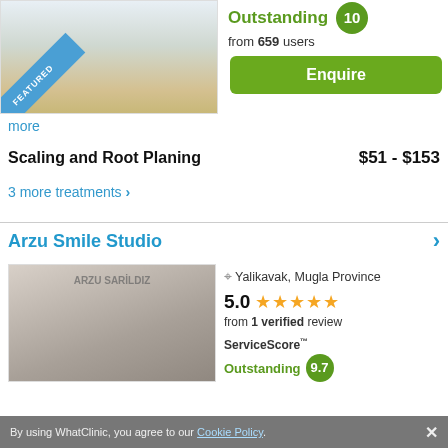[Figure (photo): Interior photo of a clinic/dental office with modern furniture, top portion visible. Has a blue diagonal FEATURED ribbon.]
Outstanding 10
from 659 users
Enquire
more
Scaling and Root Planing
$51 - $153
3 more treatments ›
Arzu Smile Studio
[Figure (photo): Photo of a woman in a dental clinic with 'ARZU SARILDIZ' text on the wall behind her.]
Yalikavak, Mugla Province
5.0 ★★★★★
from 1 verified review
ServiceScore™
Outstanding 9.7
By using WhatClinic, you agree to our Cookie Policy. ×